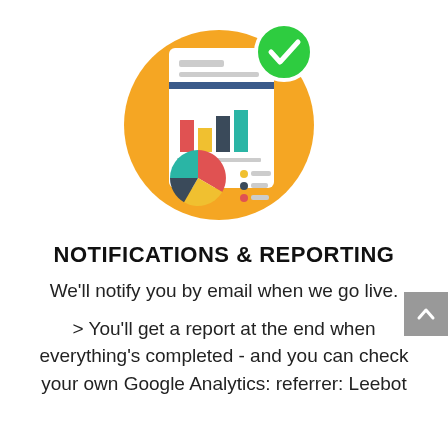[Figure (illustration): Orange circle with a white document/report icon showing bar charts and a pie chart, with a green checkmark circle badge at the top right]
NOTIFICATIONS & REPORTING
We'll notify you by email when we go live.
> You'll get a report at the end when everything's completed - and you can check your own Google Analytics: referrer: Leebot